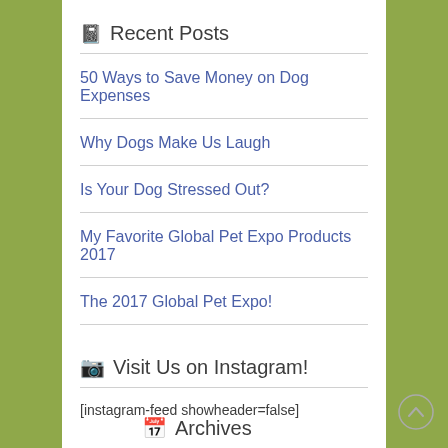Recent Posts
50 Ways to Save Money on Dog Expenses
Why Dogs Make Us Laugh
Is Your Dog Stressed Out?
My Favorite Global Pet Expo Products 2017
The 2017 Global Pet Expo!
Visit Us on Instagram!
[instagram-feed showheader=false]
Archives